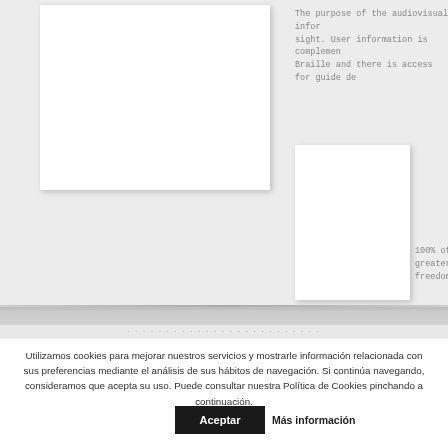[Figure (photo): White rectangular image placeholder on light grey background, top left]
The purpose of the audiovisual inform sight. User information is complemen Braille and there is access for guide de
[Figure (photo): White rectangular image placeholder on light grey background, center right]
100% of th greater wid freedom of
Utilizamos cookies para mejorar nuestros servicios y mostrarle información relacionada con sus preferencias mediante el análisis de sus hábitos de navegación. Si continúa navegando, consideramos que acepta su uso. Puede consultar nuestra Política de Cookies pinchando a continuación.
Aceptar
Más información